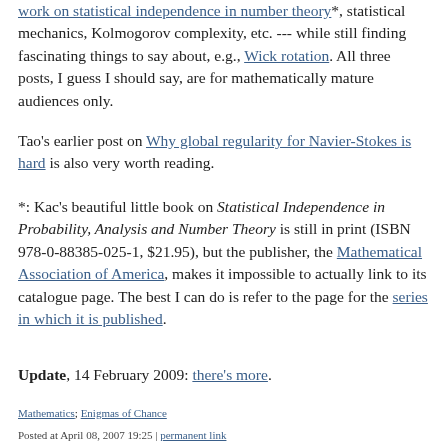work on statistical independence in number theory*, statistical mechanics, Kolmogorov complexity, etc. --- while still finding fascinating things to say about, e.g., Wick rotation. All three posts, I guess I should say, are for mathematically mature audiences only.
Tao's earlier post on Why global regularity for Navier-Stokes is hard is also very worth reading.
*: Kac's beautiful little book on Statistical Independence in Probability, Analysis and Number Theory is still in print (ISBN 978-0-88385-025-1, $21.95), but the publisher, the Mathematical Association of America, makes it impossible to actually link to its catalogue page. The best I can do is refer to the page for the series in which it is published.
Update, 14 February 2009: there's more.
Mathematics; Enigmas of Chance
Posted at April 08, 2007 19:25 | permanent link